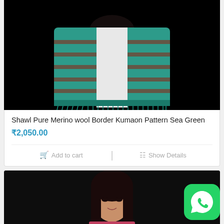[Figure (photo): A person wearing a teal/sea green merino wool shawl with border pattern against a black background]
Shawl Pure Merino wool Border Kumaon Pattern Sea Green
₹2,050.00
Add to cart | Show Details
[Figure (photo): A young woman with dark hair wearing a pink/red shawl against a black background, partially visible]
[Figure (logo): WhatsApp logo button (green rounded square with white phone icon)]